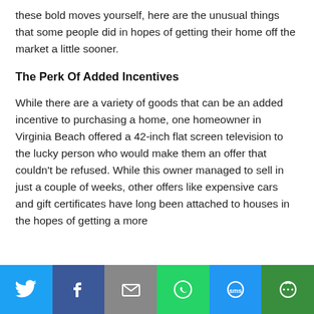these bold moves yourself, here are the unusual things that some people did in hopes of getting their home off the market a little sooner.
The Perk Of Added Incentives
While there are a variety of goods that can be an added incentive to purchasing a home, one homeowner in Virginia Beach offered a 42-inch flat screen television to the lucky person who would make them an offer that couldn't be refused. While this owner managed to sell in just a couple of weeks, other offers like expensive cars and gift certificates have long been attached to houses in the hopes of getting a more
Social share bar: Twitter, Facebook, Email, WhatsApp, SMS, More